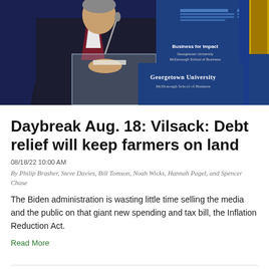[Figure (photo): A person in a dark suit speaking at a Georgetown University podium with blue banners and flags in the background]
Daybreak Aug. 18: Vilsack: Debt relief will keep farmers on land
08/18/22 10:00 AM
By Philip Brasher, Steve Davies, Bill Tomson, Noah Wicks, Hannah Pagel, and Spencer Chase
The Biden administration is wasting little time selling the media and the public on that giant new spending and tax bill, the Inflation Reduction Act.
Read More